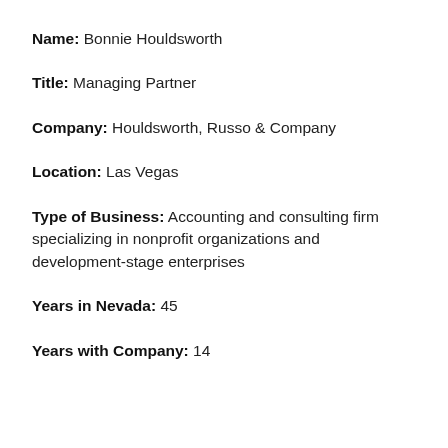Name: Bonnie Houldsworth
Title: Managing Partner
Company: Houldsworth, Russo & Company
Location: Las Vegas
Type of Business: Accounting and consulting firm specializing in nonprofit organizations and development-stage enterprises
Years in Nevada: 45
Years with Company: 14